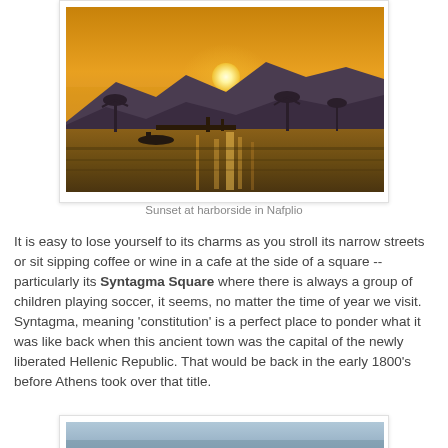[Figure (photo): Sunset at harborside in Nafplio — warm orange and golden sky with sun above silhouetted mountains and palm trees reflected on calm water]
Sunset at harborside in Nafplio
It is easy to lose yourself to its charms as you stroll its narrow streets or sit sipping coffee or wine in a cafe at the side of a square -- particularly its Syntagma Square where there is always a group of children playing soccer, it seems, no matter the time of year we visit.  Syntagma, meaning 'constitution' is a perfect place to ponder what it was like back when this ancient town was the capital of the newly liberated Hellenic Republic. That would be back in the early 1800's before Athens took over that title.
[Figure (photo): Partial view of another photo — top portion visible, appears to show a coastal or harbor scene]